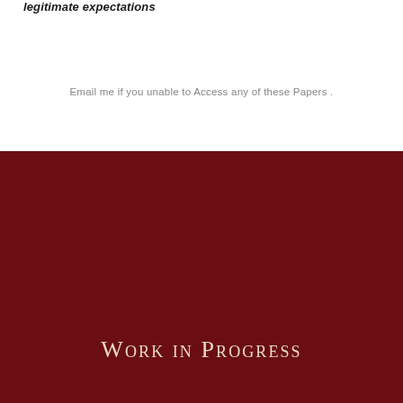legitimate expectations
Email me if you unable to Access any of these Papers .
Work in Progress